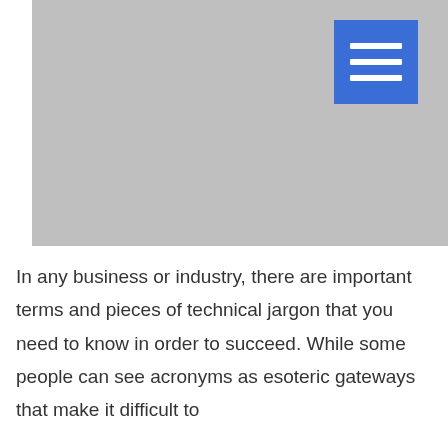[Figure (screenshot): Gray placeholder image area with a blue hamburger menu button in the top right corner]
In any business or industry, there are important terms and pieces of technical jargon that you need to know in order to succeed. While some people can see acronyms as esoteric gateways that make it difficult to